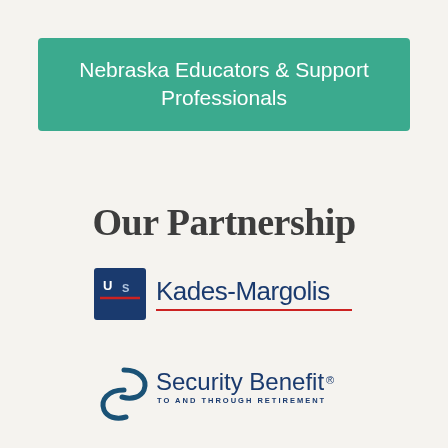Nebraska Educators & Support Professionals
Our Partnership
[Figure (logo): US Kades-Margolis logo with blue square containing 'US' and 'Kades-Margolis' text in dark blue with red underline]
[Figure (logo): Security Benefit logo with stylized 'S' spiral icon and text 'Security Benefit' with tagline 'TO AND THROUGH RETIREMENT']